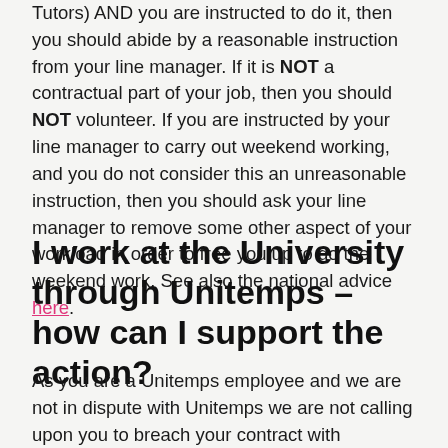Tutors) AND you are instructed to do it, then you should abide by a reasonable instruction from your line manager. If it is NOT a contractual part of your job, then you should NOT volunteer. If you are instructed by your line manager to carry out weekend working, and you do not consider this an unreasonable instruction, then you should ask your line manager to remove some other aspect of your workload in order to free you up to do the weekend work. See also the national advice here.
I work at the University through Unitemps – how can I support the action?
As you are a Unitemps employee and we are not in dispute with Unitemps we are not calling upon you to breach your contract with Unitemps. We are asking you to support our action by supporting the pickets (when